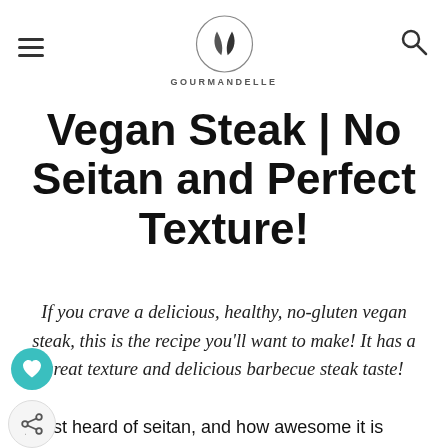GOURMANDELLE
Vegan Steak | No Seitan and Perfect Texture!
If you crave a delicious, healthy, no-gluten vegan steak, this is the recipe you'll want to make! It has a great texture and delicious barbecue steak taste!
I first heard of seitan, and how awesome it is